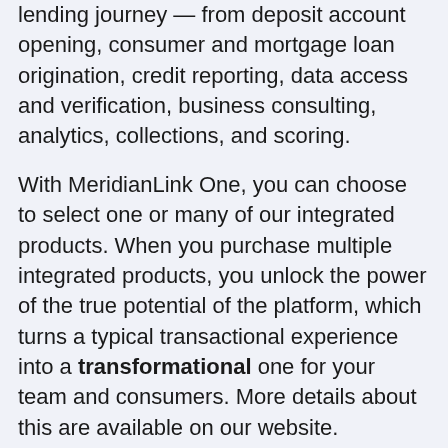lending journey — from deposit account opening, consumer and mortgage loan origination, credit reporting, data access and verification, business consulting, analytics, collections, and scoring.
With MeridianLink One, you can choose to select one or many of our integrated products. When you purchase multiple integrated products, you unlock the power of the true potential of the platform, which turns a typical transactional experience into a transformational one for your team and consumers. More details about this are available on our website.